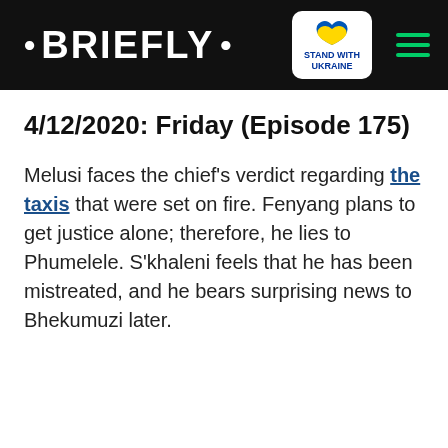· BRIEFLY · [STAND WITH UKRAINE badge] [hamburger menu]
4/12/2020: Friday (Episode 175)
Melusi faces the chief's verdict regarding the taxis that were set on fire. Fenyang plans to get justice alone; therefore, he lies to Phumelele. S'khaleni feels that he has been mistreated, and he bears surprising news to Bhekumuzi later.